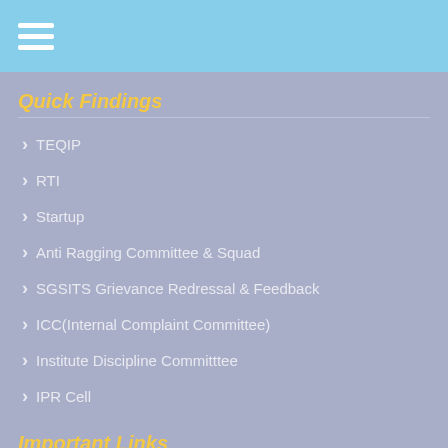Menu
Quick Findings
TEQIP
RTI
Startup
Anti Ragging Committee & Squad
SGSITS Grievance Redressal & Feedback
ICC(Internal Complaint Committee)
Institute Discipline Committtee
IPR Cell
Important Links
Digital Initiative by MHRD
Rajiv Gandhi Proudyogiki Vishwavidyalaya
Devi Ahilya Vishwavidyalaya